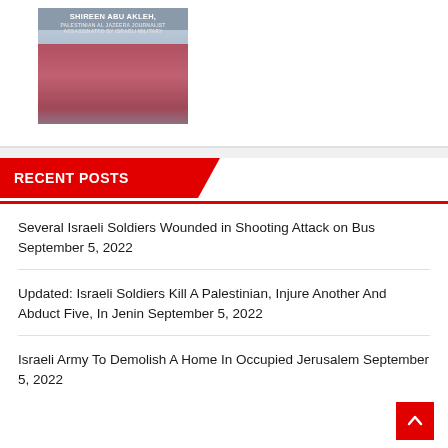[Figure (photo): Photo of Shireen Abu Akleh, Palestinian Al Jazeera journalist assassinated by Israeli military, shown against a cityscape background]
RECENT POSTS
Several Israeli Soldiers Wounded in Shooting Attack on Bus September 5, 2022
Updated: Israeli Soldiers Kill A Palestinian, Injure Another And Abduct Five, In Jenin September 5, 2022
Israeli Army To Demolish A Home In Occupied Jerusalem September 5, 2022